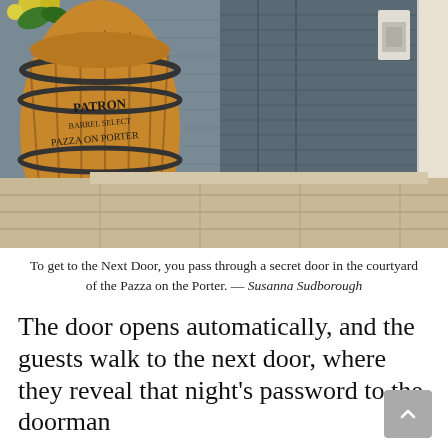[Figure (photo): Outdoor courtyard scene showing a large Patron Barrel Select 'Pazza on Porter' branded wooden barrel against a grey painted brick wall with a grey door panel. Stone tile flooring. A small security panel/intercom visible on the wall. Some yellow flowers visible top left.]
To get to the Next Door, you pass through a secret door in the courtyard of the Pazza on the Porter. — Susanna Sudborough
The door opens automatically, and the guests walk to the next door, where they reveal that night's password to the doorman